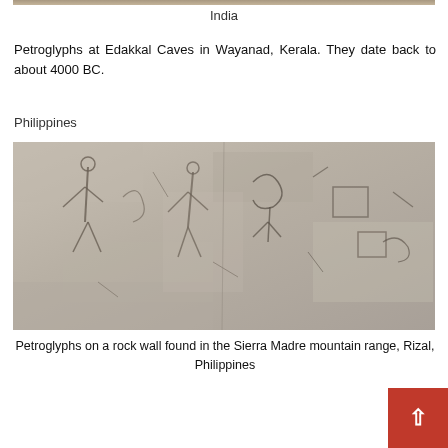India
Petroglyphs at Edakkal Caves in Wayanad, Kerala. They date back to about 4000 BC.
Philippines
[Figure (photo): Petroglyphs on a rock wall found in the Sierra Madre mountain range, Rizal, Philippines — carved figures and symbols on grey stone surface]
Petroglyphs on a rock wall found in the Sierra Madre mountain range, Rizal, Philippines